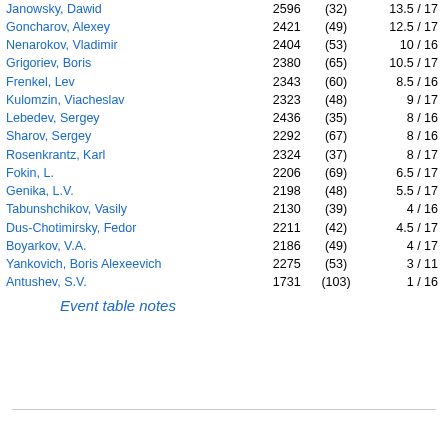| Name | Rating | (Games) | Score |
| --- | --- | --- | --- |
| Janowsky, Dawid | 2596 | (32) | 13.5 / 17 |
| Goncharov, Alexey | 2421 | (49) | 12.5 / 17 |
| Nenarokov, Vladimir | 2404 | (53) | 10 / 16 |
| Grigoriev, Boris | 2380 | (65) | 10.5 / 17 |
| Frenkel, Lev | 2343 | (60) | 8.5 / 16 |
| Kulomzin, Viacheslav | 2323 | (48) | 9 / 17 |
| Lebedev, Sergey | 2436 | (35) | 8 / 16 |
| Sharov, Sergey | 2292 | (67) | 8 / 16 |
| Rosenkrantz, Karl | 2324 | (37) | 8 / 17 |
| Fokin, L. | 2206 | (69) | 6.5 / 17 |
| Genika, L.V. | 2198 | (48) | 5.5 / 17 |
| Tabunshchikov, Vasily | 2130 | (39) | 4 / 16 |
| Dus-Chotimirsky, Fedor | 2211 | (42) | 4.5 / 17 |
| Boyarkov, V.A. | 2186 | (49) | 4 / 17 |
| Yankovich, Boris Alexeevich | 2275 | (53) | 3 / 11 |
| Antushev, S.V. | 1731 | (103) | 1 / 16 |
Event table notes